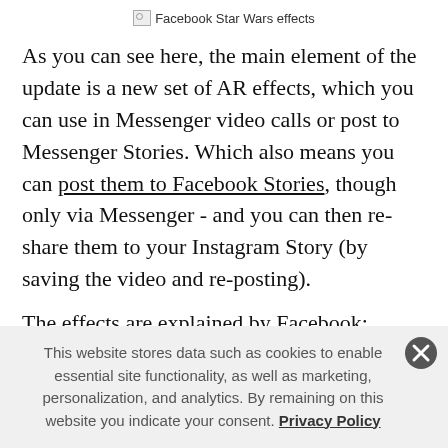Facebook Star Wars effects
As you can see here, the main element of the update is a new set of AR effects, which you can use in Messenger video calls or post to Messenger Stories. Which also means you can post them to Facebook Stories, though only via Messenger - and you can then re-share them to your Instagram Story (by saving the video and re-posting).
The effects are explained by Facebook:
This website stores data such as cookies to enable essential site functionality, as well as marketing, personalization, and analytics. By remaining on this website you indicate your consent. Privacy Policy